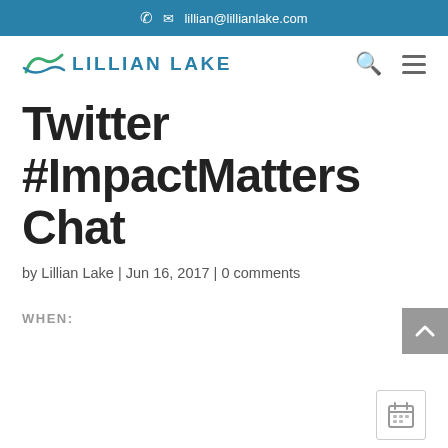lillian@lillianlake.com
[Figure (logo): Lillian Lake logo with stylized wave/leaf and text LILLIAN LAKE in blue]
Twitter #ImpactMatters Chat
by Lillian Lake | Jun 16, 2017 | 0 comments
WHEN: